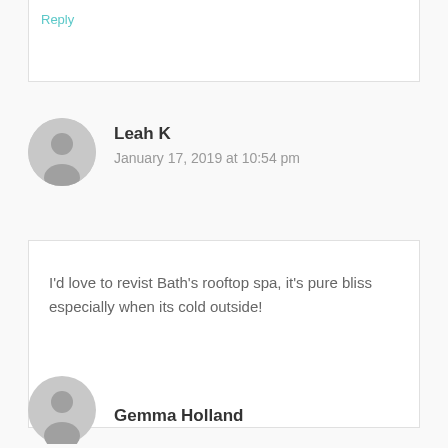Reply
Leah K
January 17, 2019 at 10:54 pm
I'd love to revist Bath's rooftop spa, it's pure bliss especially when its cold outside!
Reply
Gemma Holland